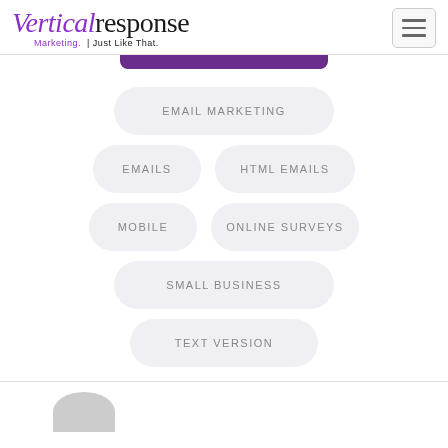[Figure (logo): VerticalResponse logo with tagline 'Marketing. Just Like That.']
EMAIL MARKETING
EMAILS
HTML EMAILS
MOBILE
ONLINE SURVEYS
SMALL BUSINESS
TEXT VERSION